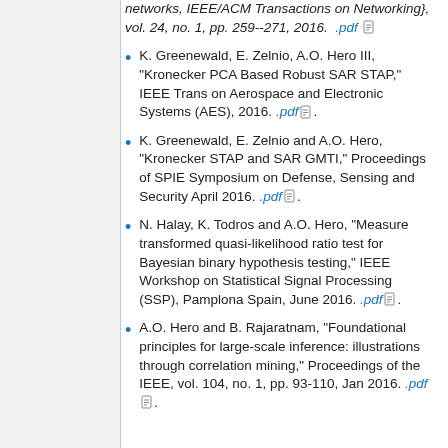networks, IEEE/ACM Transactions on Networking, vol. 24, no. 1, pp. 259--271, 2016. .pdf
K. Greenewald, E. Zelnio, A.O. Hero III, "Kronecker PCA Based Robust SAR STAP," IEEE Trans on Aerospace and Electronic Systems (AES), 2016. .pdf.
K. Greenewald, E. Zelnio and A.O. Hero, "Kronecker STAP and SAR GMTI," Proceedings of SPIE Symposium on Defense, Sensing and Security April 2016. .pdf.
N. Halay, K. Todros and A.O. Hero, "Measure transformed quasi-likelihood ratio test for Bayesian binary hypothesis testing," IEEE Workshop on Statistical Signal Processing (SSP), Pamplona Spain, June 2016. .pdf.
A.O. Hero and B. Rajaratnam, "Foundational principles for large-scale inference: illustrations through correlation mining," Proceedings of the IEEE, vol. 104, no. 1, pp. 93-110, Jan 2016. .pdf.